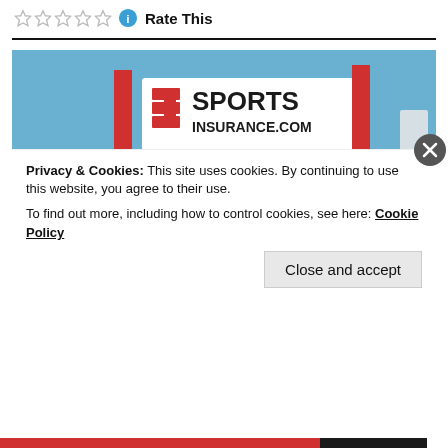Rate This
[Figure (photo): Group photo of approximately 30-35 women wearing red t-shirts, posing outdoors in front of a banner reading 'SPORTS INSURANCE.COM', with red branded banners/flags visible and a lake or river in the background.]
Privacy & Cookies: This site uses cookies. By continuing to use this website, you agree to their use.
To find out more, including how to control cookies, see here: Cookie Policy